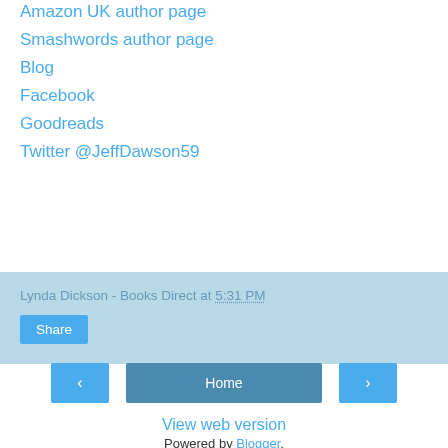Amazon UK author page
Smashwords author page
Blog
Facebook
Goodreads
Twitter @JeffDawson59
Lynda Dickson - Books Direct at 5:31 PM
Share
Home
View web version
Powered by Blogger.